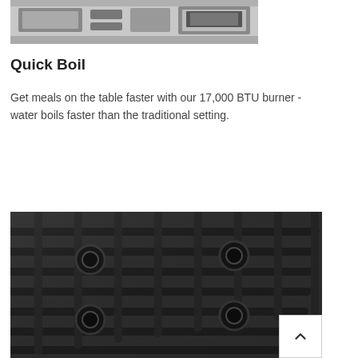[Figure (photo): Partial top view of a kitchen appliance (stove/oven) control panel in black and white, cropped at top of page]
Quick Boil
Get meals on the table faster with our 17,000 BTU burner - water boils faster than the traditional setting.
[Figure (photo): Close-up black and white photograph of cast iron gas stove burner grates arranged in a grid pattern, viewed at an angle]